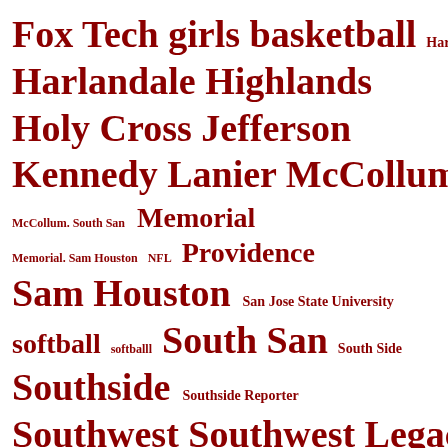[Figure (infographic): Tag cloud of sports teams, schools, and organizations related to South San Antonio area, rendered in dark red text at varying font sizes indicating frequency/importance. Terms include: Fox Tech girls basketball, Harladale, Harlandale Highlands, Holy Cross Jefferson, Kennedy Lanier McCollum, McCollum South San, Memorial, Memorial Sam Houston, NFL, Providence, Sam Houston, San Jose State University, softball, softballl, South San, South Side, Southside, Southside Reporter, Southwest, Southwest Legacy, Southwest Legacy JV, St. Gerard, Texas Association of Private and Parochial Schools.]